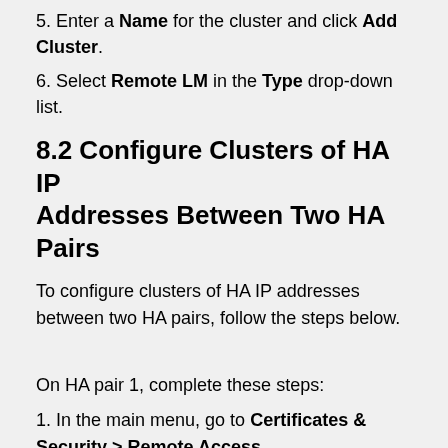5. Enter a Name for the cluster and click Add Cluster.
6. Select Remote LM in the Type drop-down list.
8.2 Configure Clusters of HA IP Addresses Between Two HA Pairs
To configure clusters of HA IP addresses between two HA pairs, follow the steps below.
On HA pair 1, complete these steps:
1. In the main menu, go to Certificates & Security > Remote Access.
2. Enter the IP address of the master LoadMaster and the IP addresses of both partners in the second HA pair in the Remote GEO LoadMaster Access text box and click Set